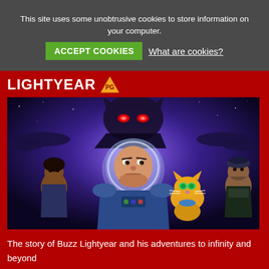This site uses some unobtrusive cookies to store information on your computer.
ACCEPT COOKIES  What are cookies?
LIGHTYEAR PG
[Figure (photo): Movie poster for Lightyear showing Buzz Lightyear in a space suit with a cat robot and other characters, with a large robot villain looming behind in a purple space scene]
The story of Buzz Lightyear and his adventures to infinity and beyond